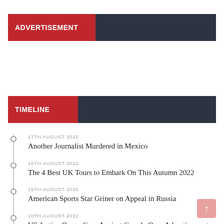ADVERTISEMENT
TIMELINE
17TH AUGUST 2022 — Another Journalist Murdered in Mexico
16TH AUGUST 2022 — The 4 Best UK Tours to Embark On This Autumn 2022
15TH AUGUST 2022 — American Sports Star Griner on Appeal in Russia
10TH AUGUST 2022 — US Justice Opens Case Against Google Over Advertisements